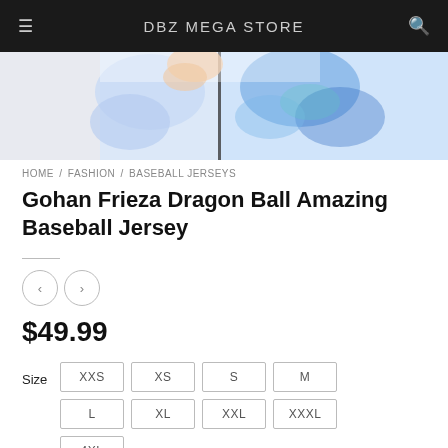DBZ MEGA STORE
[Figure (photo): Product image showing a Dragon Ball baseball jersey with blue and white design]
HOME / FASHION / BASEBALL JERSEYS
Gohan Frieza Dragon Ball Amazing Baseball Jersey
$49.99
Size: XXS, XS, S, M, L, XL, XXL, XXXL, 4XL